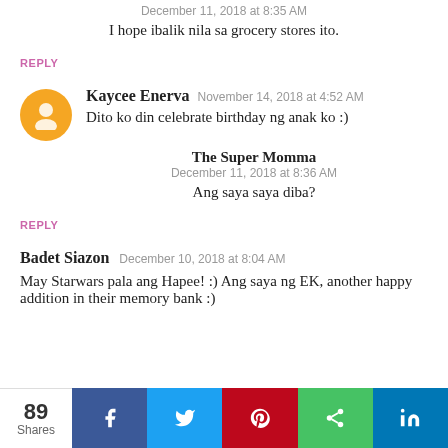December 11, 2018 at 8:35 AM
I hope ibalik nila sa grocery stores ito.
REPLY
Kaycee Enerva  November 14, 2018 at 4:52 AM
Dito ko din celebrate birthday ng anak ko :)
The Super Momma
December 11, 2018 at 8:36 AM
Ang saya saya diba?
REPLY
Badet Siazon  December 10, 2018 at 8:04 AM
May Starwars pala ang Hapee! :) Ang saya ng EK, another happy addition in their memory bank :)
89 Shares  f  Twitter  Pinterest  Share  in